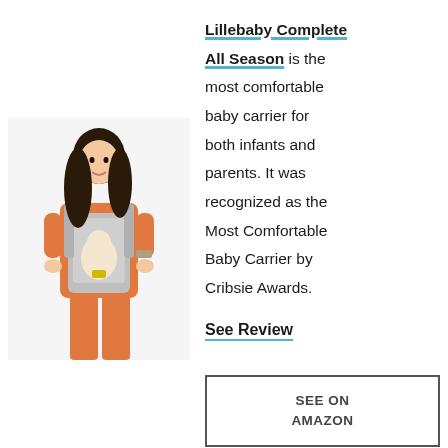[Figure (photo): A woman wearing a grey Lillebaby baby carrier with an infant inside, the woman is smiling and wearing an orange top and orange pants]
Lillebaby Complete All Season is the most comfortable baby carrier for both infants and parents. It was recognized as the Most Comfortable Baby Carrier by Cribsie Awards.
See Review
SEE ON AMAZON